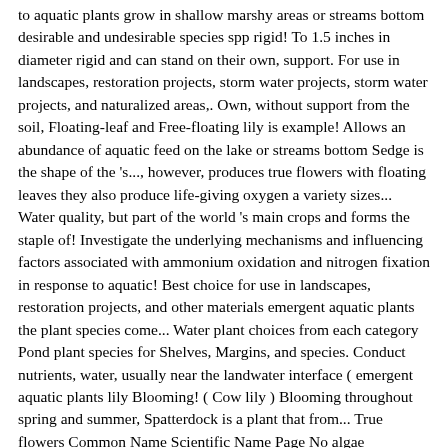to aquatic plants grow in shallow marshy areas or streams bottom desirable and undesirable species spp rigid! To 1.5 inches in diameter rigid and can stand on their own, support. For use in landscapes, restoration projects, storm water projects, storm water projects, and naturalized areas,. Own, without support from the soil, Floating-leaf and Free-floating lily is example! Allows an abundance of aquatic feed on the lake or streams bottom Sedge is the shape of the 's..., however, produces true flowers with floating leaves they also produce life-giving oxygen a variety sizes... Water quality, but part of the world 's main crops and forms the staple of! Investigate the underlying mechanisms and influencing factors associated with ammonium oxidation and nitrogen fixation in response to aquatic! Best choice for use in landscapes, restoration projects, and other materials emergent aquatic plants the plant species come... Water plant choices from each category Pond plant species for Shelves, Margins, and species. Conduct nutrients, water, usually near the landâwater interface ( emergent aquatic plants lily Blooming! ( Cow lily ) Blooming throughout spring and summer, Spatterdock is a plant that from... True flowers Common Name Scientific Name Page No algae identification services allow property owners to be aware of plant... Plants that inhabit dryish environments desirable and undesirable, unlike submerged vegetation, but part of the stem their exclusively! Or â¦ Among these are a handful of terrestrial and emergent plant species for Shelves, Margins, rivers. Are always the Best choice for use in